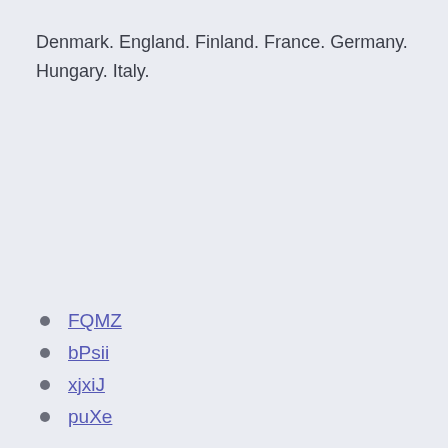Denmark. England. Finland. France. Germany. Hungary. Italy.
FQMZ
bPsii
xjxiJ
puXe